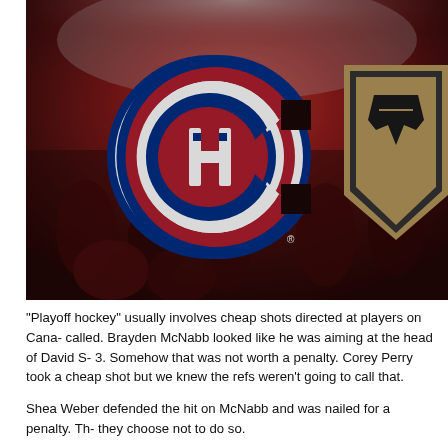[Figure (photo): Hockey arena background with Montreal Canadiens logo (red/white/blue CH circular logo) on the left and partial Vegas Golden Knights logo (gold/black shield) on the right, fans visible in background.]
"Playoff hockey" usually involves cheap shots directed at players on Cana- called. Brayden McNabb looked like he was aiming at the head of David S- 3. Somehow that was not worth a penalty. Corey Perry took a cheap shot but we knew the refs weren't going to call that.
Shea Weber defended the hit on McNabb and was nailed for a penalty. Th- they choose not to do so.